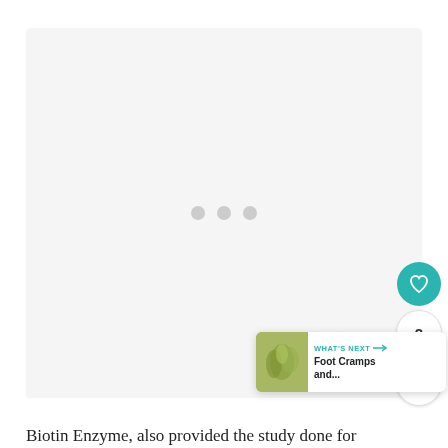[Figure (photo): Large light gray placeholder image area with three loading dots in the center, indicating a loading image slot]
[Figure (infographic): UI overlay with teal heart button (like/favorite), count badge showing 2, teal share button, and a 'What's Next' card showing a thumbnail of green herbs/plant and text 'Foot Cramps and...']
Biotin Enzyme, also provided the study done for